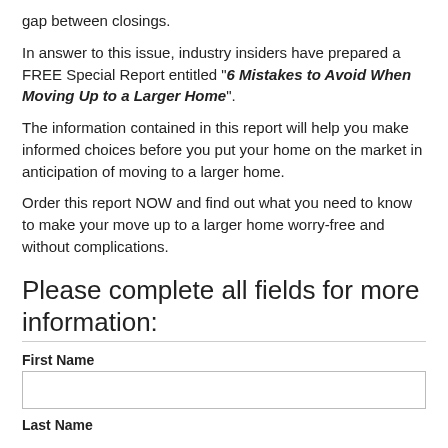gap between closings.
In answer to this issue, industry insiders have prepared a FREE Special Report entitled "6 Mistakes to Avoid When Moving Up to a Larger Home".
The information contained in this report will help you make informed choices before you put your home on the market in anticipation of moving to a larger home.
Order this report NOW and find out what you need to know to make your move up to a larger home worry-free and without complications.
Please complete all fields for more information:
First Name
Last Name